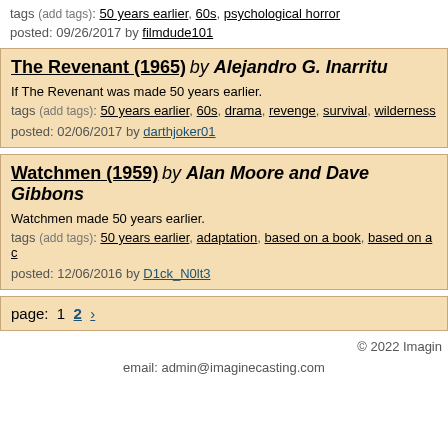tags (add tags): 50 years earlier, 60s, psychological horror
posted: 09/26/2017 by filmdude101
The Revenant (1965) by Alejandro G. Inarritu
If The Revenant was made 50 years earlier.
tags (add tags): 50 years earlier, 60s, drama, revenge, survival, wilderness
posted: 02/06/2017 by darthjoker01
Watchmen (1959) by Alan Moore and Dave Gibbons
Watchmen made 50 years earlier.
tags (add tags): 50 years earlier, adaptation, based on a book, based on a c
posted: 12/06/2016 by D1ck_N0lt3
page:  1  2  >
© 2022 Imagin
email: admin@imaginecasting.com